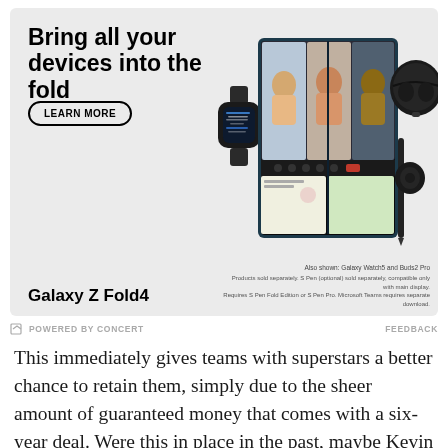[Figure (photo): Samsung advertisement for Galaxy Z Fold4. Shows the tagline 'Bring all your devices into the fold' with a LEARN MORE button. Product images show a Samsung Galaxy Watch5, Galaxy Z Fold4 open displaying a video call with three people, a stylus pen, and Galaxy Buds2 Pro. Bottom left shows product name 'Galaxy Z Fold4'. Bottom right shows disclaimer text: 'Also shown: Galaxy Watch5 and Buds2 Pro. Products sold separately. S Pen (optional) sold separately, compatible only with main display. Requires S Pen Fold Edition or S Pen Pro. Microsoft Teams requires separate download.']
POWERED BY CONCERT   FEEDBACK
This immediately gives teams with superstars a better chance to retain them, simply due to the sheer amount of guaranteed money that comes with a six-year deal. Were this in place in the past, maybe Kevin Durant never reaches free agency in 2016.